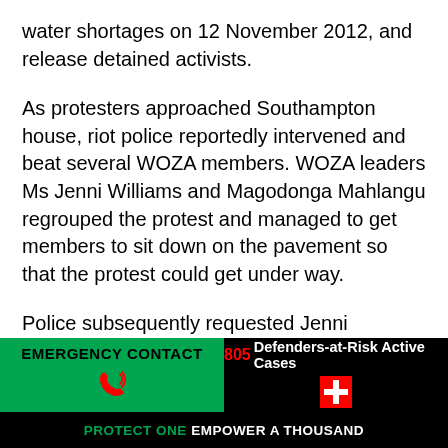water shortages on 12 November 2012, and release detained activists.
As protesters approached Southampton house, riot police reportedly intervened and beat several WOZA members. WOZA leaders Ms Jenni Williams and Magodonga Mahlangu regrouped the protest and managed to get members to sit down on the pavement so that the protest could get under way.
Police subsequently requested Jenni Williams to enter the Police Headquarters in order to hold a dialogue with the police provincial leadership. After obtaining assurances that the remaining protesters would not be harmed, she and a
EMERGENCY CONTACT | 805 Defenders-at-Risk Active Cases | PROTECT ONE EMPOWER A THOUSAND